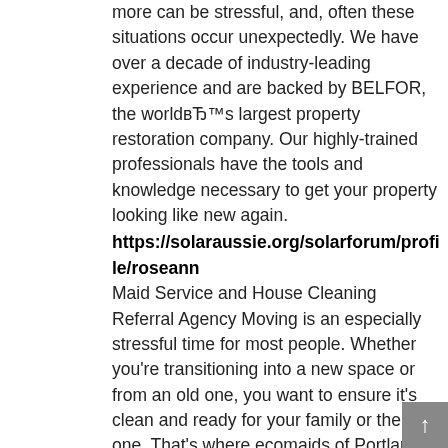more can be stressful, and, often these situations occur unexpectedly. We have over a decade of industry-leading experience and are backed by BELFOR, the worldвЂ™s largest property restoration company. Our highly-trained professionals have the tools and knowledge necessary to get your property looking like new again. https://solaraussie.org/solarforum/profile/roseann Maid Service and House Cleaning Referral Agency Moving is an especially stressful time for most people. Whether you're transitioning into a new space or from an old one, you want to ensure it's clean and ready for your family or the next one. That's where ecomaids of Portland can help. With our move in move out cleaning service, available across the Portland, OR area, we can handle the washing, wiping, dusting, and so much